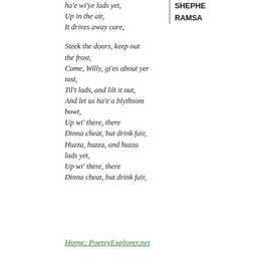ha'e wi'ye lads yet,
Up in the air,
It drives away care,

Steek the doors, keep out the frost,
Come, Willy, gi'es about yer tost,
Til't lads, and lilt it out,
And let us ha'e a blythsom bowt,
Up wi' there, there
Dinna cheat, but drink fair,
Huzza, huzza, and huzza lads yet,
Up wi' there, there
Dinna cheat, but drink fair,
SHEPHE
RAMSA
Home: PoetryExplorer.net